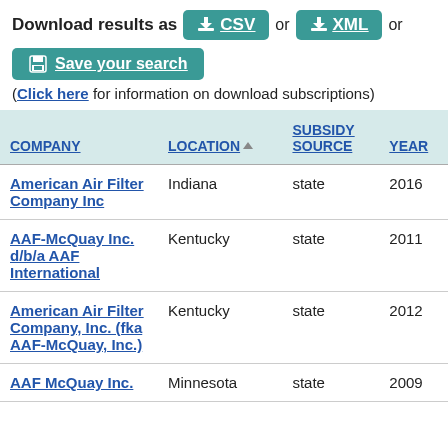Download results as CSV or XML or Save your search (Click here for information on download subscriptions)
| COMPANY | LOCATION | SUBSIDY SOURCE | YEAR |
| --- | --- | --- | --- |
| American Air Filter Company Inc | Indiana | state | 2016 |
| AAF-McQuay Inc. d/b/a AAF International | Kentucky | state | 2011 |
| American Air Filter Company, Inc. (fka AAF-McQuay, Inc.) | Kentucky | state | 2012 |
| AAF McQuay Inc. | Minnesota | state | 2009 |